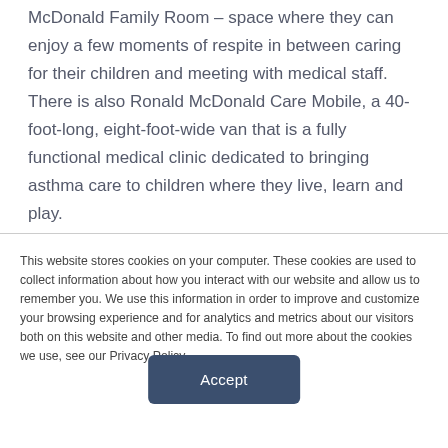McDonald Family Room – space where they can enjoy a few moments of respite in between caring for their children and meeting with medical staff. There is also Ronald McDonald Care Mobile, a 40-foot-long, eight-foot-wide van that is a fully functional medical clinic dedicated to bringing asthma care to children where they live, learn and play.
This website stores cookies on your computer. These cookies are used to collect information about how you interact with our website and allow us to remember you. We use this information in order to improve and customize your browsing experience and for analytics and metrics about our visitors both on this website and other media. To find out more about the cookies we use, see our Privacy Policy.